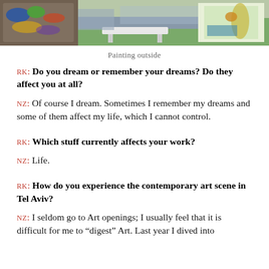[Figure (photo): Outdoor painting scene showing an artist's palette and a large colorful mural/painting outdoors on green grass]
Painting outside
RK: Do you dream or remember your dreams? Do they affect you at all?
NZ: Of course I dream. Sometimes I remember my dreams and some of them affect my life, which I cannot control.
RK: Which stuff currently affects your work?
NZ: Life.
RK: How do you experience the contemporary art scene in Tel Aviv?
NZ: I seldom go to Art openings; I usually feel that it is difficult for me to “digest” Art. Last year I dived into